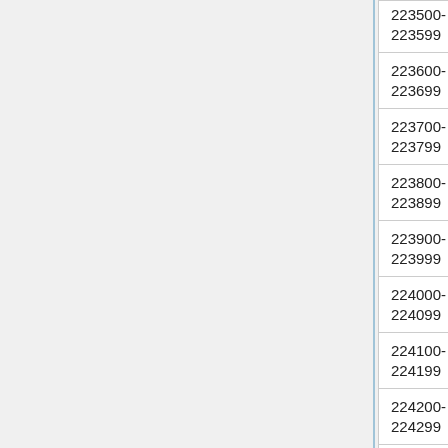| Range | Status | Count | Size |
| --- | --- | --- | --- |
| 223500-223599 | Done, locally | 74 | 3.3G |
| 223600-223699 | Done, locally | 38 | 1.4G |
| 223700-223799 | Done, locally | 61 | 3.4G |
| 223800-223899 | Done, locally | 68 | 7.9G |
| 223900-223999 | Done, locally | 71 | 13G |
| 224000-224099 | Done, locally | 47 | 480M |
| 224100-224199 | Done, locally | 50 | 4.4G |
| 224200-224299 | Done, locally | 41 | 6.7G |
| 224300-224399 | Done, locally | 71 | 2.1G |